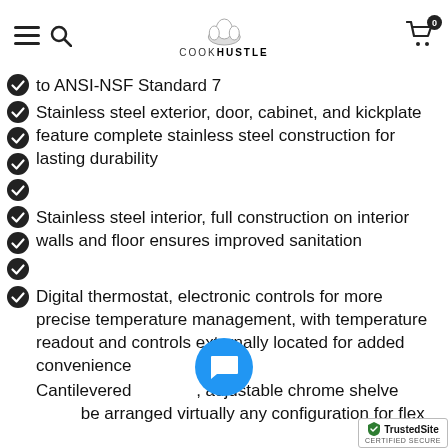COOKHUSTLE - navigation header with menu, search, logo, cart (0 items)
to ANSI-NSF Standard 7
Stainless steel exterior, door, cabinet, and kickplate feature complete stainless steel construction for lasting durability
Stainless steel interior, full construction on interior walls and floor ensures improved sanitation
Digital thermostat, electronic controls for more precise temperature management, with temperature readout and controls externally located for added convenience
Cantilevered [shelves], adjustable chrome shelves can be arranged virtually any configuration for flex...